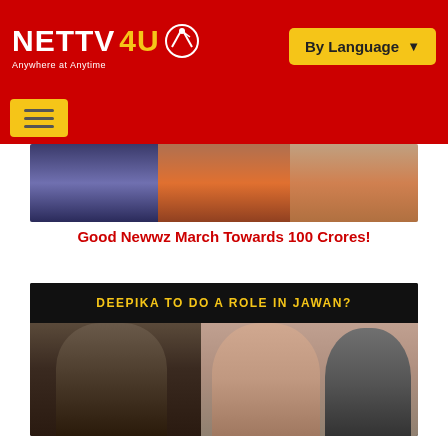[Figure (logo): NETTV4U logo with satellite dish icon, tagline 'Anywhere at Anytime', red header with yellow 'By Language' dropdown button]
[Figure (other): Hamburger menu button on red navigation bar]
[Figure (photo): Group photo with people in formal attire]
Good Newwz March Towards 100 Crores!
[Figure (photo): Thumbnail with text 'DEEPIKA TO DO A ROLE IN JAWAN?' showing actress and actor photos]